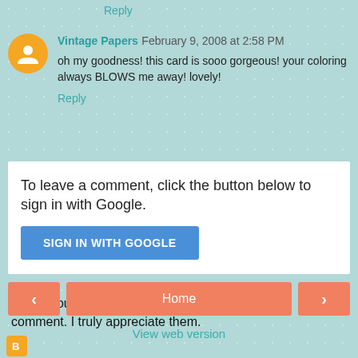Reply
Vintage Papers  February 9, 2008 at 2:58 PM
oh my goodness! this card is sooo gorgeous! your coloring always BLOWS me away! lovely!
Reply
To leave a comment, click the button below to sign in with Google.
SIGN IN WITH GOOGLE
Thank you for taking the time to leave me a comment. I truly appreciate them.
< Home >
View web version